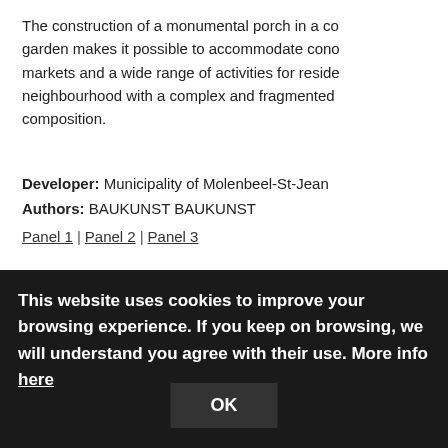The construction of a monumental porch in a co garden makes it possible to accommodate cono markets and a wide range of activities for reside neighbourhood with a complex and fragmented composition.
Developer: Municipality of Molenbeel-St-Jean Authors: BAUKUNST BAUKUNST
Panel 1 | Panel 2 | Panel 3
This website uses cookies to improve your browsing experience. If you keep on browsing, we will understand you agree with their use. More info here
OK